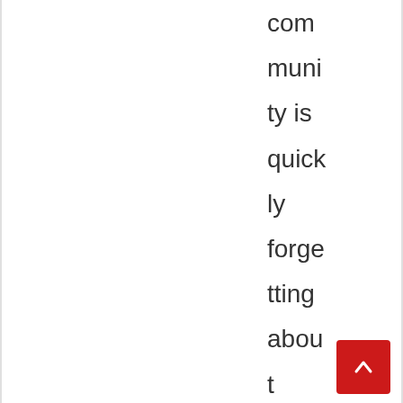community is quickly forgetting about Benavides? And communi
[Figure (other): Red scroll-to-top button with white chevron/arrow icon in the bottom right corner]